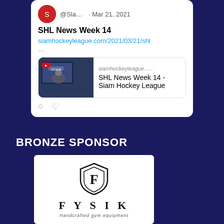[Figure (screenshot): Tweet screenshot showing @Sla... on Mar 21, 2021 with text 'SHL News Week 14' and a link preview card for siamhockeyleague.com/2021/03/21/shl showing 'SHL News Week 14 - Siam Hockey League']
BRONZE SPONSOR
[Figure (logo): FYSIK logo - shield emblem with F inside, company name FYSIK in spaced capitals, tagline 'Handcrafted gym equipment']